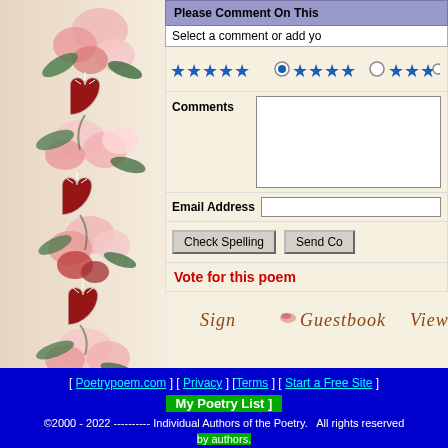[Figure (illustration): Decorative floral border on the left side of the page featuring pink and red roses with green leaves and diamond-shaped heart ornaments on a cream background]
Please Comment On This
Select a comment or add yo
[Figure (infographic): Star rating row with blue stars (5 stars selected with radio button), 4 blue stars, 3 blue stars with radio buttons]
Comments
Email Address
Check Spelling   Send Co
Vote for this poem
[Figure (illustration): Cursive text reading 'Sign Guestbook View' with a small rose decoration]
[ Poetrypoem.com ]   [ Privacy ]   [Terms ]   [ Start a Free Site ]
My Poetry List ]
©2000 - 2022 ---------- Individual Authors of the Poetry.   All rights reserved by authors.